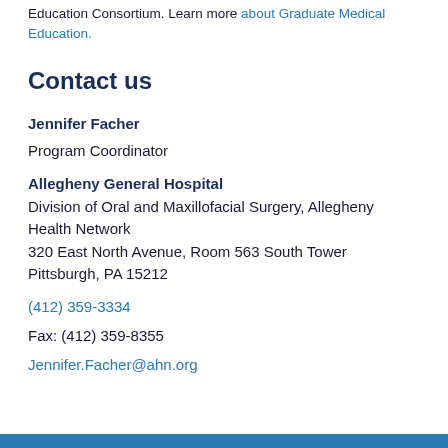Education Consortium. Learn more about Graduate Medical Education.
Contact us
Jennifer Facher
Program Coordinator
Allegheny General Hospital
Division of Oral and Maxillofacial Surgery, Allegheny Health Network
320 East North Avenue, Room 563 South Tower
Pittsburgh, PA 15212
(412) 359-3334
Fax: (412) 359-8355
Jennifer.Facher@ahn.org